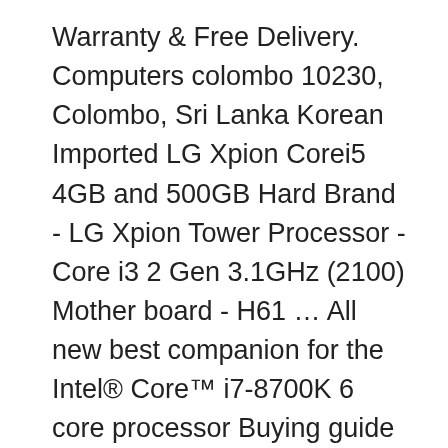Warranty & Free Delivery. Computers colombo 10230, Colombo, Sri Lanka Korean Imported LG Xpion Corei5 4GB and 500GB Hard Brand - LG Xpion Tower Processor - Core i3 2 Gen 3.1GHz (2100) Mother board - H61 … All new best companion for the Intel® Core™ i7-8700K 6 core processor Buying guide for the Intel ... 1. Get the best Printers prices in Sri Lanka only on BuyAbans. Buy gifts online and get it delivered. It is in good condition. Winsoft.lk offers a large range of Scanners for best price in Sri Lanka from all the leading brands. Rs.152,999. Rs 4,000. Call us 24/7! Printing, Prepress and Packaging. At Print House we make it our business to produce printed pieces that keep